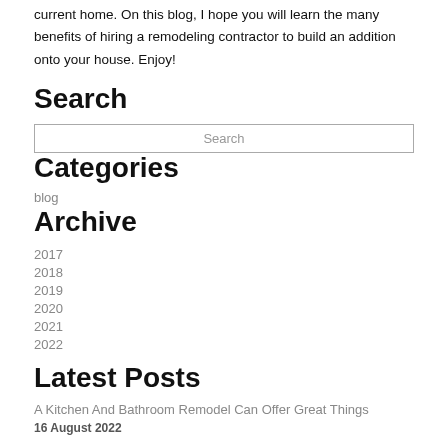current home. On this blog, I hope you will learn the many benefits of hiring a remodeling contractor to build an addition onto your house. Enjoy!
Search
Search
Categories
blog
Archive
2017
2018
2019
2020
2021
2022
Latest Posts
A Kitchen And Bathroom Remodel Can Offer Great Things
16 August 2022